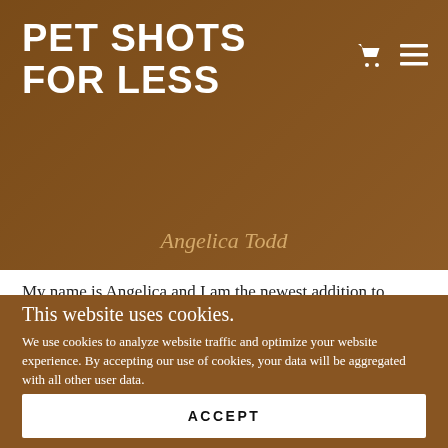PET SHOTS FOR LESS
Angelica Todd
My name is Angelica and I am the newest addition to the Pet Shots for Less team and also the youngest at 17
This website uses cookies.
We use cookies to analyze website traffic and optimize your website experience. By accepting our use of cookies, your data will be aggregated with all other user data.
ACCEPT